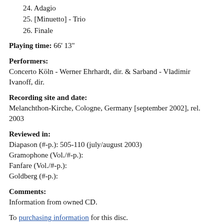24. Adagio
25. [Minuetto] - Trio
26. Finale
Playing time: 66' 13"
Performers:
Concerto Köln - Werner Ehrhardt, dir. & Sarband - Vladimir Ivanoff, dir.
Recording site and date:
Melanchthon-Kirche, Cologne, Germany [september 2002], rel. 2003
Reviewed in:
Diapason (#-p.): 505-110 (july/august 2003)
Gramophone (Vol./#-p.):
Fanfare (Vol./#-p.):
Goldberg (#-p.):
Comments:
Information from owned CD.
To purchasing information for this disc.
To FAQ references to this recording.